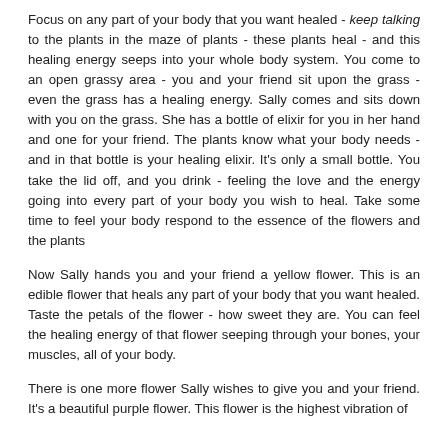Focus on any part of your body that you want healed - keep talking to the plants in the maze of plants - these plants heal - and this healing energy seeps into your whole body system. You come to an open grassy area - you and your friend sit upon the grass - even the grass has a healing energy. Sally comes and sits down with you on the grass. She has a bottle of elixir for you in her hand and one for your friend. The plants know what your body needs - and in that bottle is your healing elixir. It's only a small bottle. You take the lid off, and you drink - feeling the love and the energy going into every part of your body you wish to heal. Take some time to feel your body respond to the essence of the flowers and the plants
Now Sally hands you and your friend a yellow flower. This is an edible flower that heals any part of your body that you want healed. Taste the petals of the flower - how sweet they are. You can feel the healing energy of that flower seeping through your bones, your muscles, all of your body.
There is one more flower Sally wishes to give you and your friend. It's a beautiful purple flower. This flower is the highest vibration of